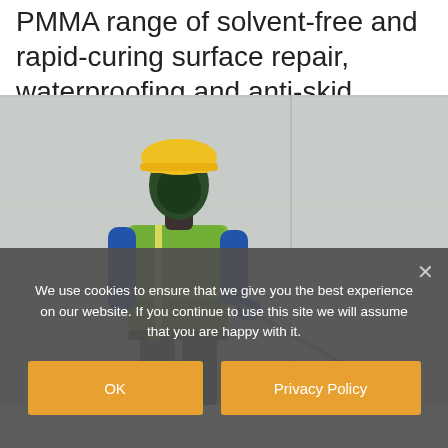PMMA range of solvent-free and rapid-curing surface repair, waterproofing and anti-skid systems.
[Figure (photo): A construction worker wearing a yellow hard hat, green high-visibility vest, blue long-sleeved shirt, and blue gloves, applying a surface coating or waterproofing product to a concrete wall using a roller on a long pole. The background is a grey concrete surface.]
We use cookies to ensure that we give you the best experience on our website. If you continue to use this site we will assume that you are happy with it.